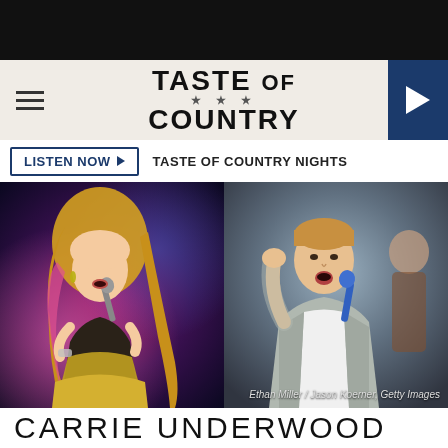TASTE OF COUNTRY
LISTEN NOW ▶  TASTE OF COUNTRY NIGHTS
[Figure (photo): Split photo: left side shows a blonde female country singer performing on stage in a sparkly outfit holding a microphone; right side shows a male performer in a grey jacket singing into a blue microphone with arms raised]
Ethan Miller / Jason Koerner, Getty Images
CARRIE UNDERWOOD